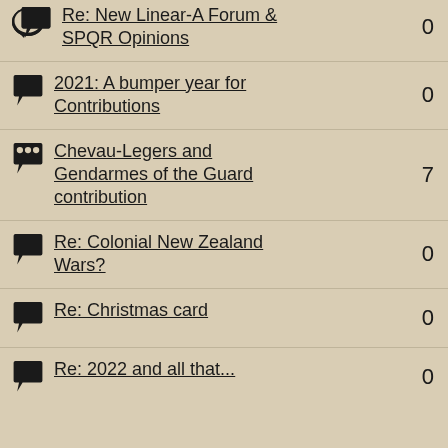Re: New Linear-A Forum & SPQR Opinions
2021: A bumper year for Contributions
Chevau-Legers and Gendarmes of the Guard contribution
Re: Colonial New Zealand Wars?
Re: Christmas card
Re: 2022 and all that...